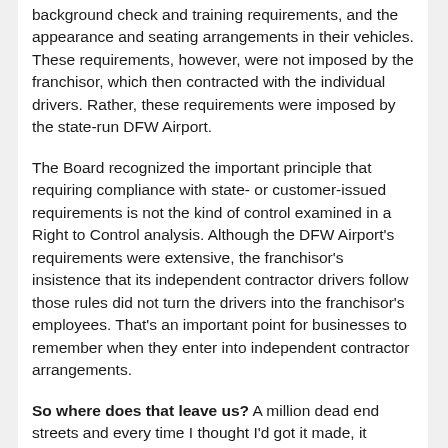background check and training requirements, and the appearance and seating arrangements in their vehicles. These requirements, however, were not imposed by the franchisor, which then contracted with the individual drivers. Rather, these requirements were imposed by the state-run DFW Airport.
The Board recognized the important principle that requiring compliance with state- or customer-issued requirements is not the kind of control examined in a Right to Control analysis. Although the DFW Airport's requirements were extensive, the franchisor's insistence that its independent contractor drivers follow those rules did not turn the drivers into the franchisor's employees. That's an important point for businesses to remember when they enter into independent contractor arrangements.
So where does that leave us? A million dead end streets and every time I thought I'd got it made, it seemed the taste was not so sweet.